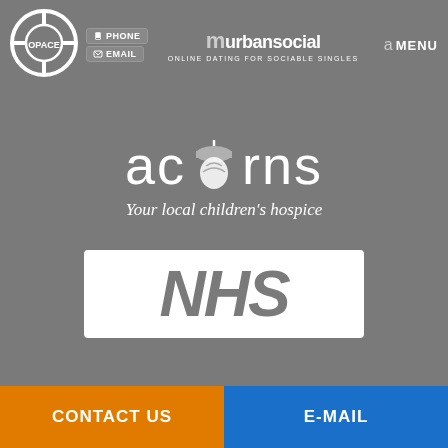[Figure (logo): OPACE logo - circular crosshair style logo with OPACE text]
[Figure (logo): Phone and Email buttons]
[Figure (logo): Urban Social logo - online dating for sociable singles]
a MENU
[Figure (logo): Acorns logo with acorn icon and tagline 'Your local children's hospice']
[Figure (logo): NHS logo in white box]
CONTACT US
E-MAIL